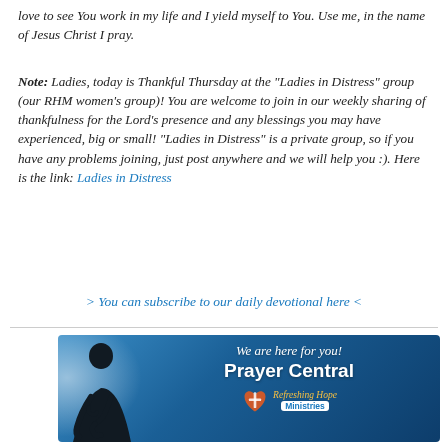love to see You work in my life and I yield myself to You. Use me, in the name of Jesus Christ I pray.
Note: Ladies, today is Thankful Thursday at the "Ladies in Distress" group (our RHM women's group)! You are welcome to join in our weekly sharing of thankfulness for the Lord's presence and any blessings you may have experienced, big or small! "Ladies in Distress" is a private group, so if you have any problems joining, just post anywhere and we will help you :). Here is the link: Ladies in Distress
> You can subscribe to our daily devotional here <
[Figure (illustration): Prayer Central banner with a silhouette of a woman praying against a blue gradient background. Text reads 'We are here for you! Prayer Central' with Refreshing Hope Ministries logo.]